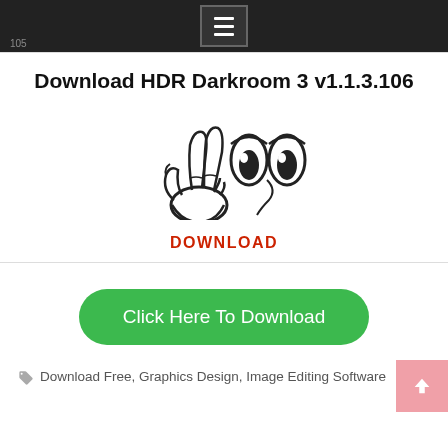HDR Darkroom 3 v1.1.3.106 — navigation menu bar
Download HDR Darkroom 3 v1.1.3.106
[Figure (illustration): Cartoon-style hand making a peace sign and a pair of cartoon eyes — app mascot logo illustration]
DOWNLOAD
Click Here To Download
Download Free, Graphics Design, Image Editing Software